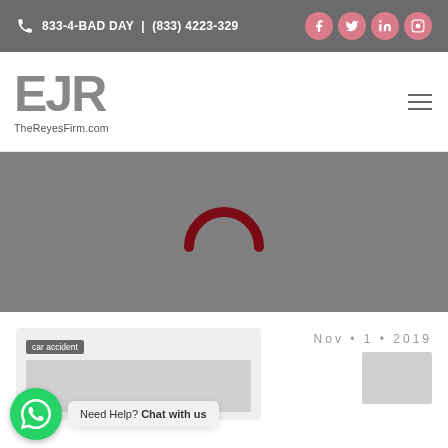833-4-BAD DAY | (833) 4223-329
[Figure (logo): EJR logo with text TheReyesFirm.com]
[Figure (photo): Gray hero banner with dark red loading spinner arc symbol in center]
Nov • 1 • 2019
Need Help? Chat with us